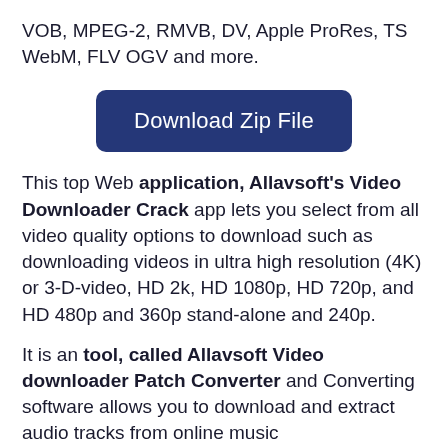VOB, MPEG-2, RMVB, DV, Apple ProRes, TS WebM, FLV OGV and more.
[Figure (other): Download Zip File button — dark navy blue rounded rectangle button with white text]
This top Web application, Allavsoft's Video Downloader Crack app lets you select from all video quality options to download such as downloading videos in ultra high resolution (4K) or 3-D-video, HD 2k, HD 1080p, HD 720p, and HD 480p and 360p stand-alone and 240p.
It is an tool, called Allavsoft Video downloader Patch Converter and Converting software allows you to download and extract audio tracks from online music